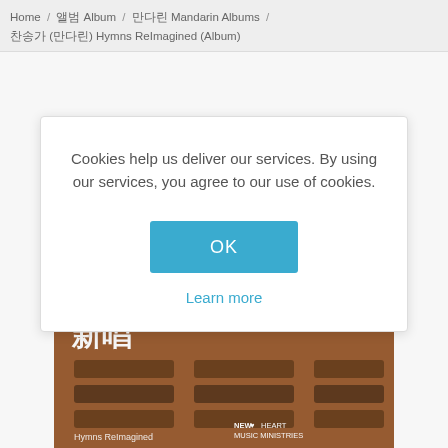Home / 앨범 Album / 만다린 Mandarin Albums / 찬송가 (만다린) Hymns ReImagined (Album)
Cookies help us deliver our services. By using our services, you agree to our use of cookies.
OK
Learn more
[Figure (photo): Album cover for Hymns ReImagined showing Chinese characters '新唱', church pews, a window with light, and the New Heart Music Ministries logo]